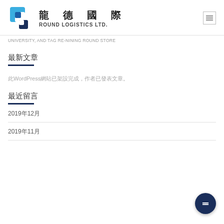龍德國際 ROUND LOGISTICS LTD.
UNIVERSITY, AND TAG RE-NINING ROUND STORE
最新文章
此WordPress網站已架設完成，作者已發表文章。
最近留言
2019年12月
2019年11月